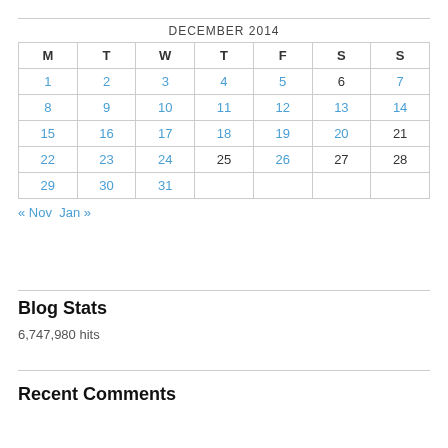| M | T | W | T | F | S | S |
| --- | --- | --- | --- | --- | --- | --- |
| 1 | 2 | 3 | 4 | 5 | 6 | 7 |
| 8 | 9 | 10 | 11 | 12 | 13 | 14 |
| 15 | 16 | 17 | 18 | 19 | 20 | 21 |
| 22 | 23 | 24 | 25 | 26 | 27 | 28 |
| 29 | 30 | 31 |  |  |  |  |
« Nov   Jan »
Blog Stats
6,747,980 hits
Recent Comments